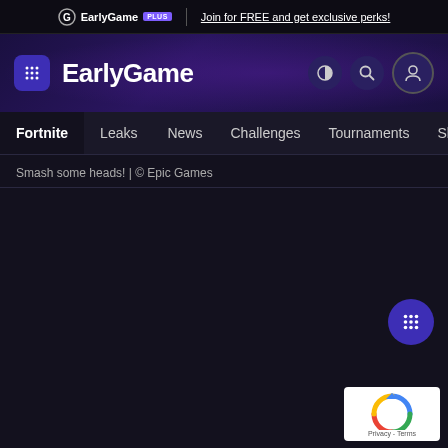EarlyGame PLUS | Join for FREE and get exclusive perks!
[Figure (screenshot): EarlyGame website header with logo, navigation icons for theme toggle, search and user account]
Fortnite  Leaks  News  Challenges  Tournaments  Skins  Video
Smash some heads! | © Epic Games
[Figure (screenshot): Dark background main content area of EarlyGame website, mostly empty with a floating grid/apps button and a reCAPTCHA Privacy - Terms badge in the bottom right corner]